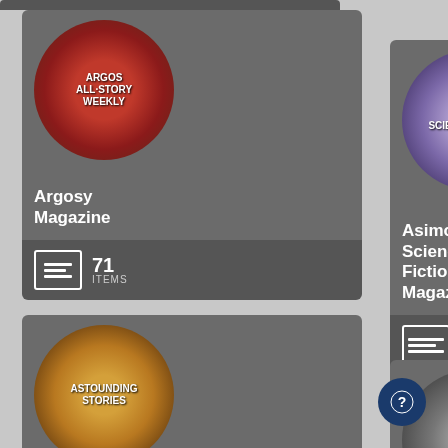[Figure (screenshot): Argosy Magazine collection card with circular magazine cover thumbnail, title text, and item count of 71]
Argosy Magazine
71 ITEMS
[Figure (screenshot): Asimov's Science Fiction Magazine collection card with circular magazine cover thumbnail, title text, and item count of 431]
Asimov's Science Fiction Magazine
431 ITEMS
[Figure (screenshot): Astounding Stories collection card with circular magazine cover thumbnail and title text]
Astounding Stories
[Figure (screenshot): Authentic collection card with circular magazine cover thumbnail and title text]
Authentic